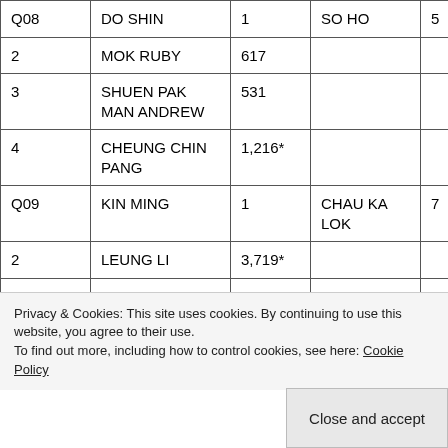| Constituency | Candidate | Votes | Candidate | Votes |
| --- | --- | --- | --- | --- |
| Q08 | DO SHIN | 1 | SO HO | 5… |
| 2 | MOK RUBY | 617 |  |  |
| 3 | SHUEN PAK MAN ANDREW | 531 |  |  |
| 4 | CHEUNG CHIN PANG | 1,216* |  |  |
| Q09 | KIN MING | 1 | CHAU KA LOK | 7… |
| 2 | LEUNG LI | 3,719* |  |  |
| Q10 | CHOI KIN… | 1 | NG JACOB | 1… |
|  |  |  | HO KWAN |  |
Privacy & Cookies: This site uses cookies. By continuing to use this website, you agree to their use.
To find out more, including how to control cookies, see here: Cookie Policy
Close and accept